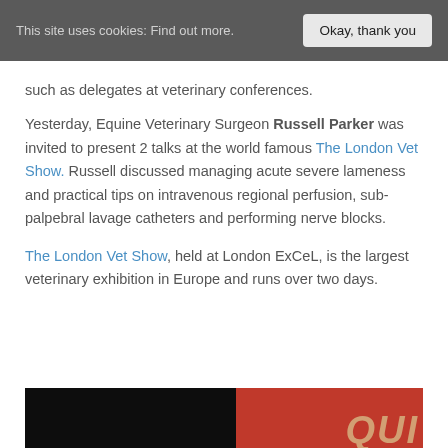This site uses cookies: Find out more.   Okay, thank you
such as delegates at veterinary conferences.
Yesterday, Equine Veterinary Surgeon Russell Parker was invited to present 2 talks at the world famous The London Vet Show. Russell discussed managing acute severe lameness and practical tips on intravenous regional perfusion, sub-palpebral lavage catheters and performing nerve blocks.
The London Vet Show, held at London ExCeL, is the largest veterinary exhibition in Europe and runs over two days.
[Figure (photo): Partial image strip at the bottom showing a dark left portion and a red/orange right portion with partial text overlay reading 'QUI']